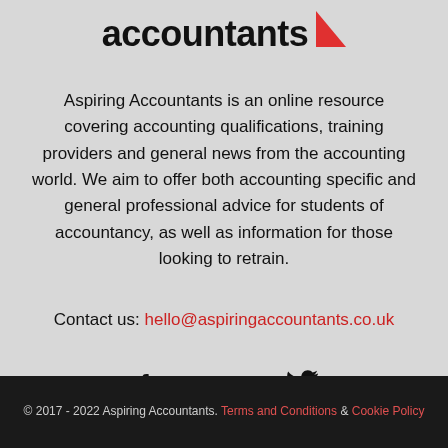accountants
Aspiring Accountants is an online resource covering accounting qualifications, training providers and general news from the accounting world. We aim to offer both accounting specific and general professional advice for students of accountancy, as well as information for those looking to retrain.
Contact us: hello@aspiringaccountants.co.uk
[Figure (other): Social media icons: Facebook (f), LinkedIn (in), Twitter (bird icon)]
© 2017 - 2022 Aspiring Accountants. Terms and Conditions & Cookie Policy